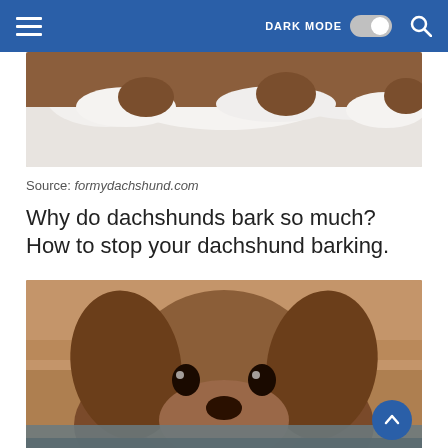DARK MODE [toggle] [search]
[Figure (photo): Partial view of a dachshund dog lying on a white fluffy surface, showing the dog's brown back legs from above]
Source: formydachshund.com
Why do dachshunds bark so much? How to stop your dachshund barking.
[Figure (photo): Close-up portrait of a brown dachshund dog resting its chin on what appears to a person's arm or fabric, with warm wooden background]